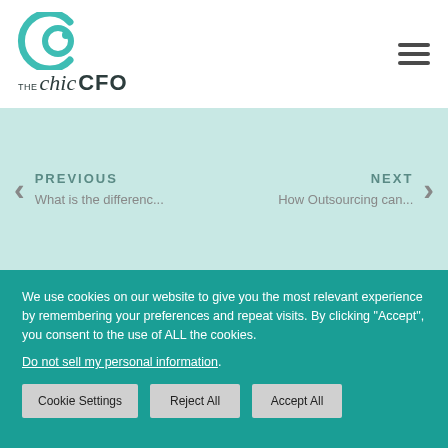[Figure (logo): The Chic CFO logo with teal circular icon and text]
PREVIOUS
What is the differenc...
NEXT
How Outsourcing can...
We use cookies on our website to give you the most relevant experience by remembering your preferences and repeat visits. By clicking "Accept", you consent to the use of ALL the cookies.
Do not sell my personal information.
Cookie Settings  Reject All  Accept All